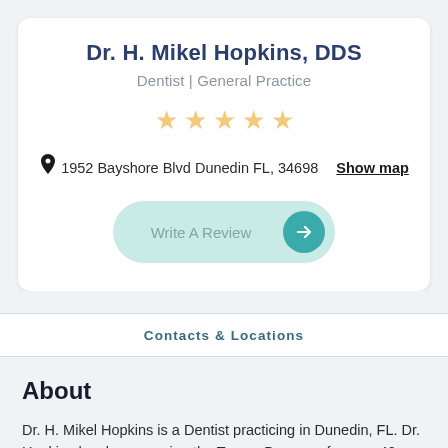Dr. H. Mikel Hopkins, DDS
Dentist | General Practice
[Figure (other): Five gold/yellow star rating icons]
1952 Bayshore Blvd Dunedin FL, 34698  Show map
[Figure (other): Write A Review button with teal arrow circle]
Contacts & Locations
About
Dr. H. Mikel Hopkins is a Dentist practicing in Dunedin, FL. Dr. Hopkins has been serving the Tampa Bay area for over 40